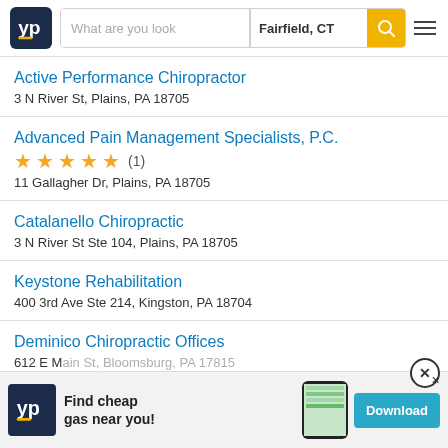YP | What are you looking for | Fairfield, CT
Active Performance Chiropractor
3 N River St, Plains, PA 18705
Advanced Pain Management Specialists, P.C.
★★★★★ (1)
11 Gallagher Dr, Plains, PA 18705
Catalanello Chiropractic
3 N River St Ste 104, Plains, PA 18705
Keystone Rehabilitation
400 3rd Ave Ste 214, Kingston, PA 18704
Deminico Chiropractic Offices
612 E M... [address cut off]
Kline C... [partially visible]
[Figure (screenshot): YP app advertisement banner: Find cheap gas near you! Download button]